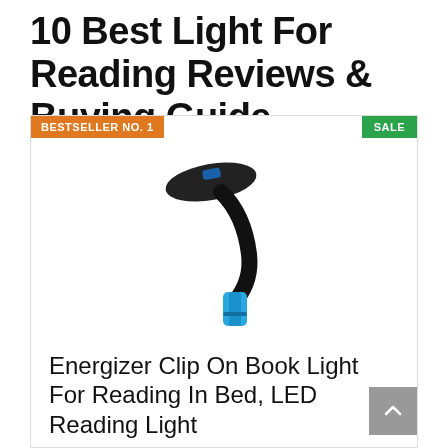10 Best Light For Reading Reviews & Buying Guide
BESTSELLER NO. 1
SALE
[Figure (photo): A black and blue clip-on book light/reading light with a flexible gooseneck arm and a flat LED head, shaped like a curved hook]
Energizer Clip On Book Light For Reading In Bed, LED Reading Light